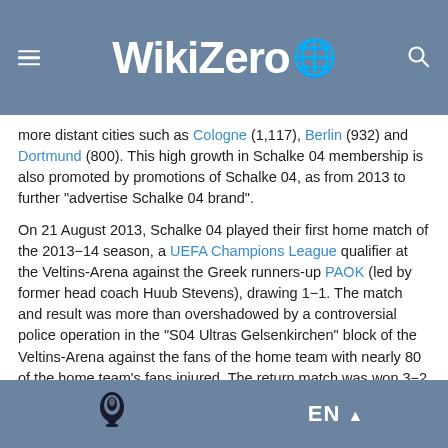WikiZero
more distant cities such as Cologne (1,117), Berlin (932) and Dortmund (800). This high growth in Schalke 04 membership is also promoted by promotions of Schalke 04, as from 2013 to further "advertise Schalke 04 brand".
On 21 August 2013, Schalke 04 played their first home match of the 2013−14 season, a UEFA Champions League qualifier at the Veltins-Arena against the Greek runners-up PAOK (led by former head coach Huub Stevens), drawing 1−1. The match and result was more than overshadowed by a controversial police operation in the "S04 Ultras Gelsenkirchen" block of the Veltins-Arena against the fans of the home team with nearly 80 of the home team's fans injured. The return match was won 3−2 by Schalke without any of their supporters allowed to attend the match.
EN